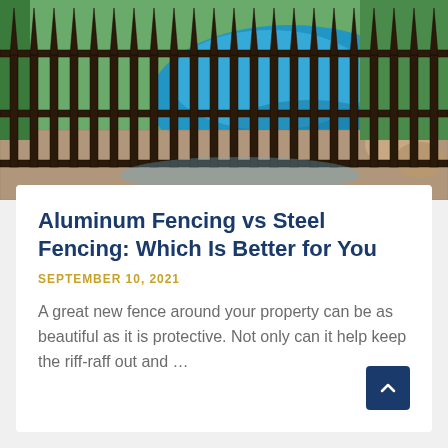[Figure (photo): A dark wrought-iron style metal fence with ornamental spear tops in the foreground, with a bright blue swimming pool, stone patio, and green trees visible in the background.]
Aluminum Fencing vs Steel Fencing: Which Is Better for You
SEPTEMBER 10, 2021
A great new fence around your property can be as beautiful as it is protective. Not only can it help keep the riff-raff out and ...